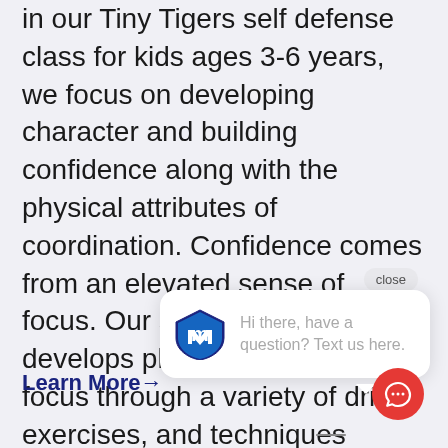In our Tiny Tigers self defense class for kids ages 3-6 years, we focus on developing character and building confidence along with the physical attributes of coordination. Confidence comes from an elevated sense of focus. Our self defense program develops physical and mental focus through a variety of drills, exercises, and techniques designed to engage their minds and develop their coordination
close
[Figure (logo): Elite martial arts shield logo with letter M]
Hi there, have a question? Text us here.
Learn More→
[Figure (illustration): Red circular chat button with speech bubble icon]